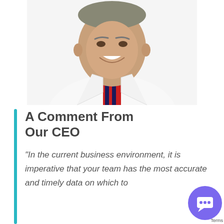[Figure (photo): Headshot photo of a smiling middle-aged man wearing a white shirt and a red and dark blue striped tie, cropped at the chest]
A Comment From Our CEO
“In the current business environment, it is imperative that your team has the most accurate and timely data on which to